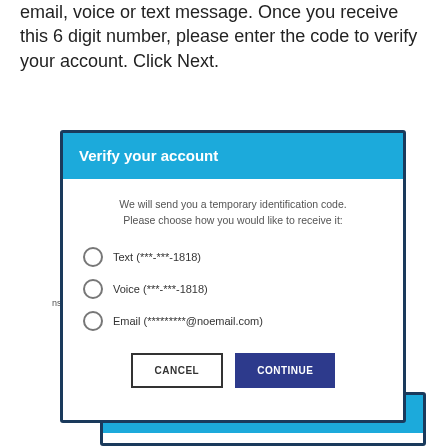email, voice or text message. Once you receive this 6 digit number, please enter the code to verify your account. Click Next.
[Figure (screenshot): A modal dialog titled 'Verify your account' with a blue header, description text, three radio options (Text (***-***-1818), Voice (***-***-1818), Email (*********@noemail.com)), and two buttons: CANCEL and CONTINUE]
[Figure (screenshot): A second partially visible modal dialog titled 'Verify your account' with a blue header and white body area, partially cut off at the bottom of the page]